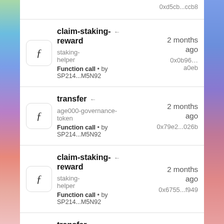claim-staking-reward ← staking-helper • Function call • by SP214...M5N92 • 2 months ago • 0x0b96...a0eb
transfer ← age000-governance-token • Function call • by SP214...M5N92 • 2 months ago • 0x79e2...026b
claim-staking-reward ← staking-helper • Function call • by SP214...M5N92 • 2 months ago • 0x6755...f949
transfer ← age000-governance-token • Function call • by SP214...M5N92 • 2 months ago • 0x52a2...2a95